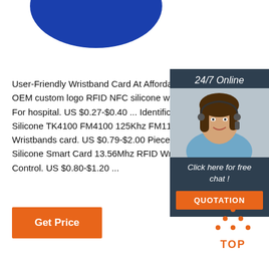[Figure (illustration): Blue circle/ellipse partially visible at top of page]
User-Friendly Wristband Card At Affordable Price - OEM custom logo RFID NFC silicone wristband tags For hospital. US $0.27-$0.40 ... Identification Adjust Silicone TK4100 FM4100 125Khz FM1108 S50 13.5 Wristbands card. US $0.79-$2.00 Piece. 1 Piece ... Silicone Smart Card 13.56Mhz RFID Wristband Bra Control. US $0.80-$1.20 ...
[Figure (infographic): Right-side panel with dark background showing '24/7 Online', a customer service agent photo, 'Click here for free chat!' text, and orange QUOTATION button]
[Figure (illustration): Orange Get Price button]
[Figure (illustration): Orange TOP button with dots arranged in triangle above text]